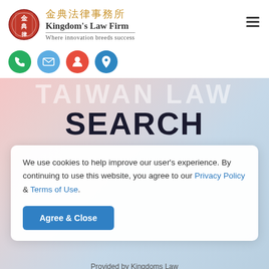[Figure (logo): Kingdom's Law Firm logo: red circular seal with Chinese characters on left, Chinese firm name '金典法律事務所' in gold, English name 'Kingdom's Law Firm' in dark serif bold, tagline 'Where innovation breeds success' in gray serif]
[Figure (infographic): Row of contact icon circles: green phone icon, light blue email envelope icon, red person/profile icon, blue map pin location icon]
TAIWAN LAW
SEARCH
We use cookies to help improve our user's experience. By continuing to use this website, you agree to our Privacy Policy & Terms of Use.
Agree & Close
Provided by Kingdoms Law